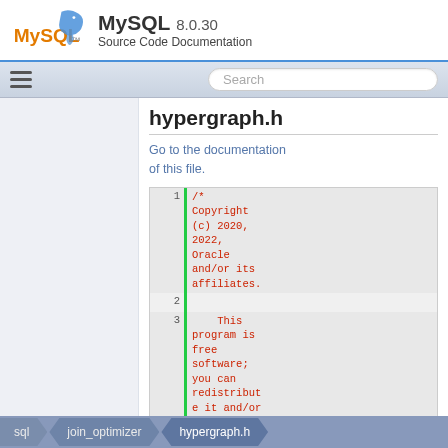MySQL 8.0.30 Source Code Documentation
hypergraph.h
Go to the documentation of this file.
[Figure (screenshot): Source code listing showing lines 1-3 of hypergraph.h. Line 1: /* Copyright (c) 2020, 2022, Oracle and/or its affiliates. Line 2: (blank) Line 3: This program is free software; you can redistribute it and/or modify]
sql  join_optimizer  hypergraph.h